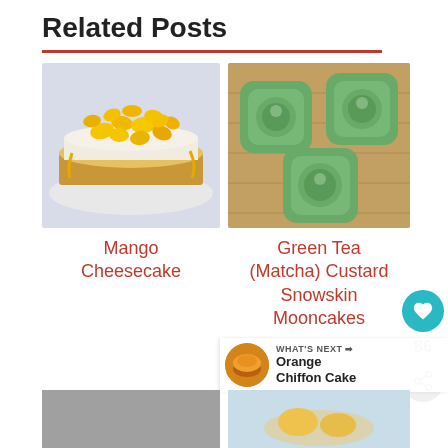Related Posts
[Figure (photo): Mango cheesecake with fresh mango pieces on top, white plate, light blue background]
[Figure (photo): Three green tea matcha custard snowskin mooncakes on a wooden board]
Mango Cheesecake
Green Tea (Matcha) Custard Snowskin Mooncakes
[Figure (other): Heart/like button icon (teal circle with heart), count 86, and share button]
[Figure (other): What's Next panel: Orange Chiffon Cake thumbnail and label]
[Figure (photo): Bottom left partial image - grey/dark placeholder]
[Figure (photo): Bottom right partial image - mango dessert in bowl]